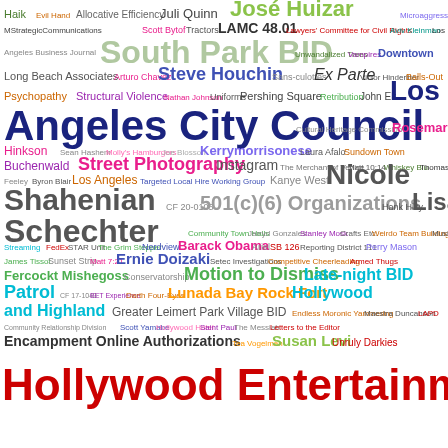[Figure (infographic): Word cloud featuring terms related to Los Angeles government, BID (Business Improvement District) politics, and community topics. Largest words include 'José Huizar', 'South Park BID', 'Los Angeles City Council', 'Nicole Shahenian', 'Lisa Schechter', 'Motion to Dismiss', 'Late-night BID Patrol', 'Hollywood and Highland', 'Hollywood Entertainment District'. Many other smaller terms in various colors.]